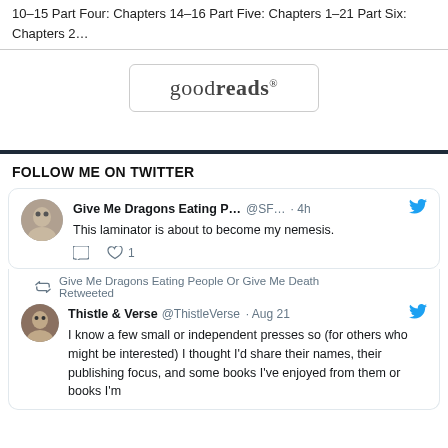10–15 Part Four: Chapters 14–16 Part Five: Chapters 1–21 Part Six: Chapters 2…
[Figure (logo): Goodreads logo in a rounded rectangle box]
FOLLOW ME ON TWITTER
[Figure (screenshot): Tweet from Give Me Dragons Eating P... @SF... · 4h: This laminator is about to become my nemesis. With reply and 1 like action icons.]
[Figure (screenshot): Retweet by Give Me Dragons Eating People Or Give Me Death. Original tweet by Thistle & Verse @ThistleVerse · Aug 21: I know a few small or independent presses so (for others who might be interested) I thought I'd share their names, their publishing focus, and some books I've enjoyed from them or books I'm]